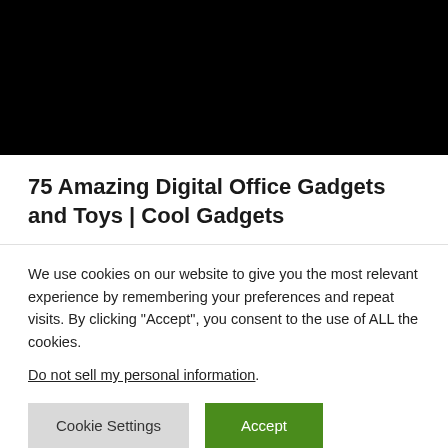[Figure (other): Black banner image at top of page]
75 Amazing Digital Office Gadgets and Toys | Cool Gadgets
We use cookies on our website to give you the most relevant experience by remembering your preferences and repeat visits. By clicking “Accept”, you consent to the use of ALL the cookies.
Do not sell my personal information.
Cookie Settings  Accept